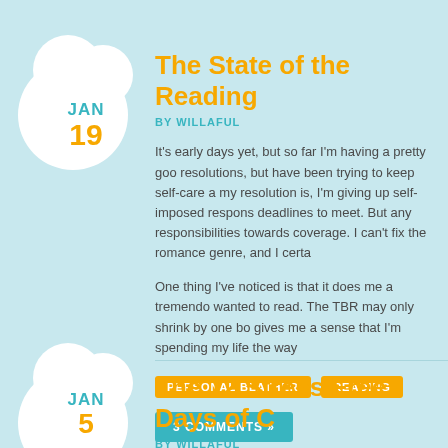The State of the Reading
BY WILLAFUL
It's early days yet, but so far I'm having a pretty goo... resolutions, but have been trying to keep self-care a... my resolution is, I'm giving up self-imposed respons... deadlines to meet. But any responsibilities towards ... coverage. I can't fix the romance genre, and I certa...
One thing I've noticed is that it does me a tremendo... wanted to read. The TBR may only shrink by one bo... gives me a sense that I'm spending my life the way ...
PERSONAL BLATHER   READING
3 COMMENTS »
The 12 Stress Free Days of C
BY WILLAFUL